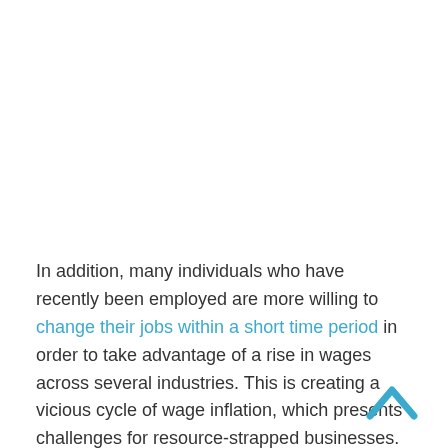In addition, many individuals who have recently been employed are more willing to change their jobs within a short time period in order to take advantage of a rise in wages across several industries. This is creating a vicious cycle of wage inflation, which presents challenges for resource-strapped businesses.
Supply chains also play a big role in determining